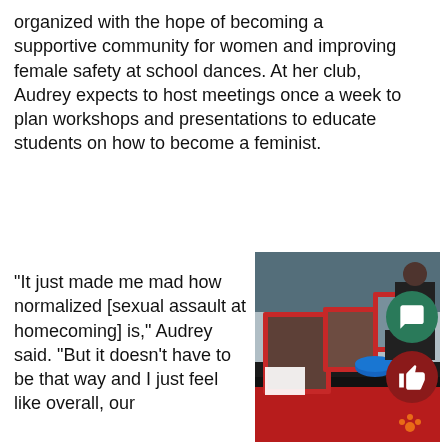organized with the hope of becoming a supportive community for women and improving female safety at school dances. At her club, Audrey expects to host meetings once a week to plan workshops and presentations to educate students on how to become a feminist.
“It just made me mad how normalized [sexual assault at homecoming] is,” Audrey said. “But it doesn’t have to be that way and I just feel like overall, our
[Figure (photo): Photo of a table at an outdoor school event with red-framed picture frames displaying group photos, a bowl of snacks, and students in the background. One student is writing on paper. Red tablecloth visible. Paw print decorations on the table.]